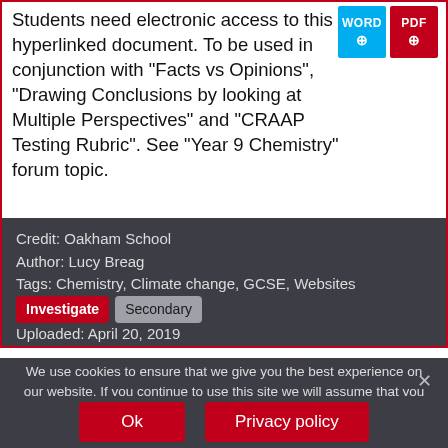Students need electronic access to this hyperlinked document. To be used in conjunction with "Facts vs Opinions", "Drawing Conclusions by looking at Multiple Perspectives" and "CRAAP Testing Rubric". See "Year 9 Chemistry" forum topic.
Credit: Oakham School
Author: Lucy Breag
Tags: Chemistry, Climate change, GCSE, Websites
Investigate  Secondary
Uploaded: April 20, 2019
We use cookies to ensure that we give you the best experience on our website. If you continue to use this site we will assume that you are happy with it.